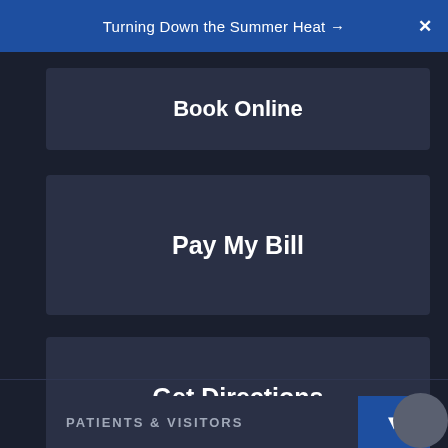Turning Down the Summer Heat → X
Book Online
Pay My Bill
Get Directions
Donate
PATIENTS & VISITORS